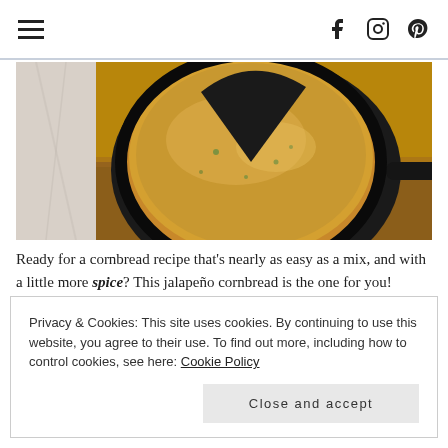Navigation bar with hamburger menu and social icons (Facebook, Instagram, Pinterest)
[Figure (photo): A cast iron skillet containing a round jalapeño cornbread with a slice removed, sitting on a wooden surface. The cornbread is golden-brown with green flecks.]
Ready for a cornbread recipe that's nearly as easy as a mix, and with a little more spice? This jalapeño cornbread is the one for you!
Cornbread is the perfect add-on to so many meals. Whether you're serving it alongside chili, soups, or pork, cornbread can really round out a meal. It can be whipped together in a matter of minutes and ready faster than many dinner roll recipes.
Privacy & Cookies: This site uses cookies. By continuing to use this website, you agree to their use. To find out more, including how to control cookies, see here: Cookie Policy